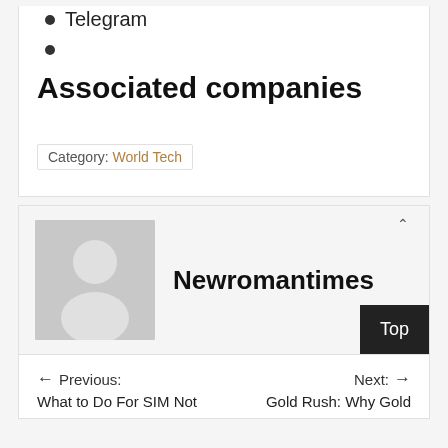Telegram
Associated companies
Category: World Tech
[Figure (illustration): Generic user avatar placeholder image — gray silhouette of a person on light gray background]
Newromantimes
← Previous:
What to Do For SIM Not
Next: →
Gold Rush: Why Gold